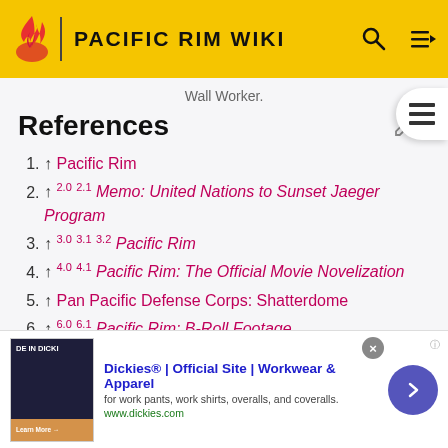PACIFIC RIM WIKI
Wall Worker.
References
↑ Pacific Rim
↑ 2.0 2.1 Memo: United Nations to Sunset Jaeger Program
↑ 3.0 3.1 3.2 Pacific Rim
↑ 4.0 4.1 Pacific Rim: The Official Movie Novelization
↑ Pan Pacific Defense Corps: Shatterdome
↑ 6.0 6.1 Pacific Rim: B-Roll Footage
↑ Pacific Rim Official Wondercon Trailer
Dickies® | Official Site | Workwear & Apparel — for work pants, work shirts, overalls, and coveralls. www.dickies.com